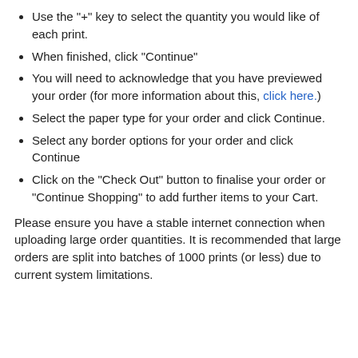Use the "+" key to select the quantity you would like of each print.
When finished, click "Continue"
You will need to acknowledge that you have previewed your order (for more information about this, click here.)
Select the paper type for your order and click Continue.
Select any border options for your order and click Continue
Click on the "Check Out" button to finalise your order or "Continue Shopping" to add further items to your Cart.
Please ensure you have a stable internet connection when uploading large order quantities. It is recommended that large orders are split into batches of 1000 prints (or less) due to current system limitations.